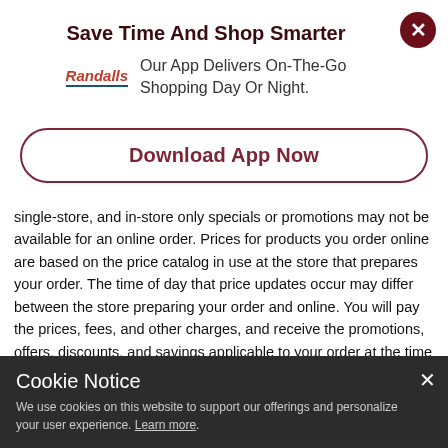Save Time And Shop Smarter
Our App Delivers On-The-Go Shopping Day Or Night.
Download App Now
single-store, and in-store only specials or promotions may not be available for an online order. Prices for products you order online are based on the price catalog in use at the store that prepares your order. The time of day that price updates occur may differ between the store preparing your order and online. You will pay the prices, fees, and other charges, and receive the promotions, offers, discounts, and savings applicable to your order at the time of online checkout, regardless of the date of scheduled delivery/pickup. Any negative balance/credit amount shown resulting from Promo Codes, coupons, or other
Cookie Notice
We use cookies on this website to support our offerings and personalize your user experience. Learn more.